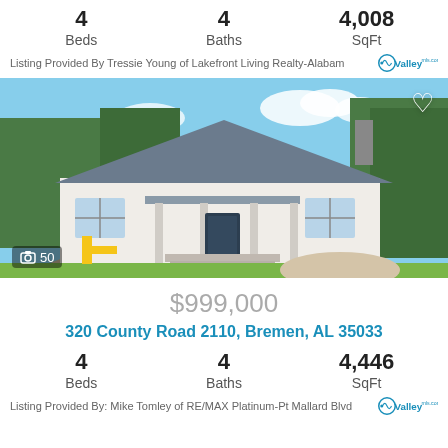4 Beds | 4 Baths | 4,008 SqFt
Listing Provided By Tressie Young of Lakefront Living Realty-Alabam
[Figure (photo): Exterior photo of a white farmhouse-style home with metal roof, covered porch, circular driveway, surrounded by trees. 50 photos indicated.]
$999,000
320 County Road 2110, Bremen, AL 35033
4 Beds | 4 Baths | 4,446 SqFt
Listing Provided By: Mike Tomley of RE/MAX Platinum-Pt Mallard Blvd